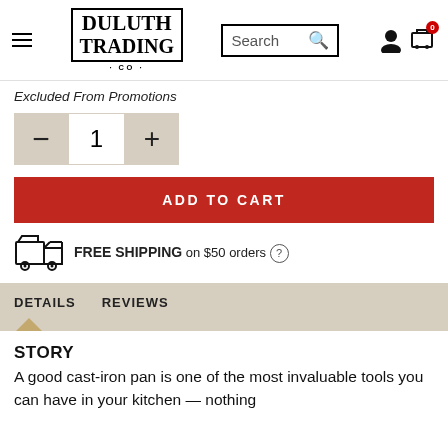[Figure (logo): Duluth Trading Co logo in black serif bold text with border box]
Excluded From Promotions
[Figure (other): Quantity selector with minus button, quantity 1, plus button]
ADD TO CART
FREE SHIPPING on $50 orders
DETAILS    REVIEWS
STORY
A good cast-iron pan is one of the most invaluable tools you can have in your kitchen — nothing